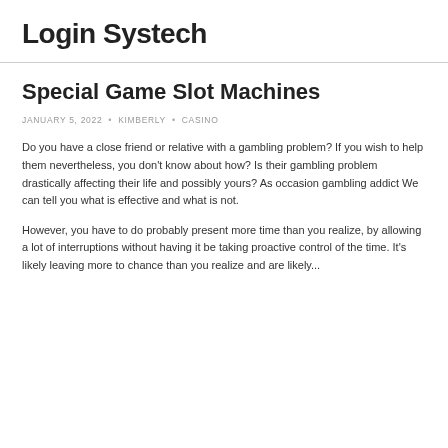Login Systech
Special Game Slot Machines
JANUARY 5, 2022 • KIMBERLY • CASINO
Do you have a close friend or relative with a gambling problem? If you wish to help them nevertheless, you don't know about how? Is their gambling problem drastically affecting their life and possibly yours? As occasion gambling addict We can tell you what is effective and what is not.
However, you have to do probably present more time than you realize, by allowing a lot of interruptions without having it be taking proactive control of the time. It's likely leaving more to chance than you realize and are likely...